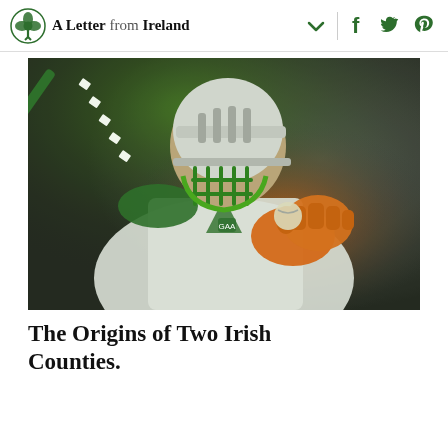A Letter from Ireland
[Figure (photo): A hurler in a white and green jersey and white helmet, holding a hurley stick behind his head and extending his fist toward the camera with an orange glove, lit dramatically with green lighting against a dark background.]
The Origins of Two Irish Counties.